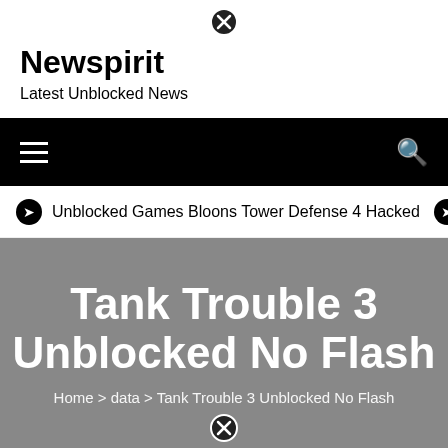[Figure (other): Close (X) button icon at top center]
Newspirit
Latest Unblocked News
[Figure (other): Black navigation bar with hamburger menu icon on left and search icon on right]
Unblocked Games Bloons Tower Defense 4 Hacked
Tank Trouble 3 Unblocked No Flash
Home > data > Tank Trouble 3 Unblocked No Flash
[Figure (other): Close (X) button icon at bottom center]